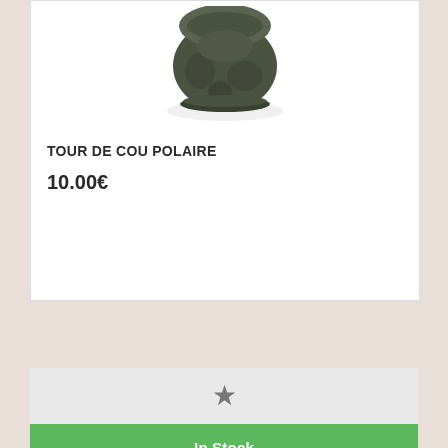[Figure (photo): Product image of a dark olive/green fleece neck gaiter/balaclava on white background]
TOUR DE COU POLAIRE
10.00€
[Figure (other): Gray star icon (rating/wishlist) centered on light gray background strip]
In Stock
[Figure (photo): Product image of a camouflage pullover jacket with hood and zipper]
Manage services
11